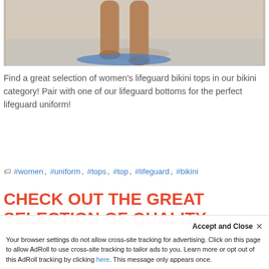[Figure (photo): Partial view of a person's legs standing at a beach shoreline, wearing or holding a blue surfboard/mat, shallow water visible]
Find a great selection of women's lifeguard bikini tops in our bikini category! Pair with one of our lifeguard bottoms for the perfect lifeguard uniform!
READ MORE »
#women, #uniform, #tops, #top, #lifeguard, #bikini
CHECK OUT THE GREAT SELECTION OF QUALITY WOMEN'S LIFEGUARD
Accept and Close ✕
Your browser settings do not allow cross-site tracking for advertising. Click on this page to allow AdRoll to use cross-site tracking to tailor ads to you. Learn more or opt out of this AdRoll tracking by clicking here. This message only appears once.